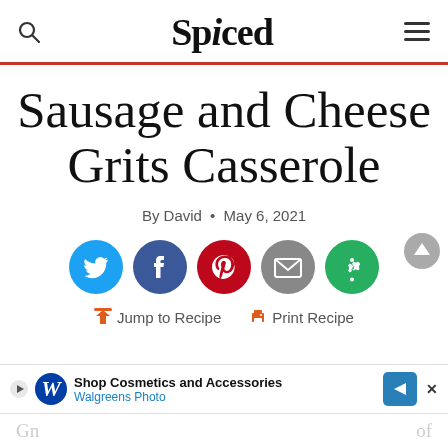Spiced
Sausage and Cheese Grits Casserole
By David • May 6, 2021
[Figure (infographic): Social sharing buttons: Twitter (blue), Facebook (dark blue), Pinterest (red), Email (grey), other share (green)]
Jump to Recipe   Print Recipe
[Figure (infographic): Walgreens Photo advertisement banner: Shop Cosmetics and Accessories - Walgreens Photo]